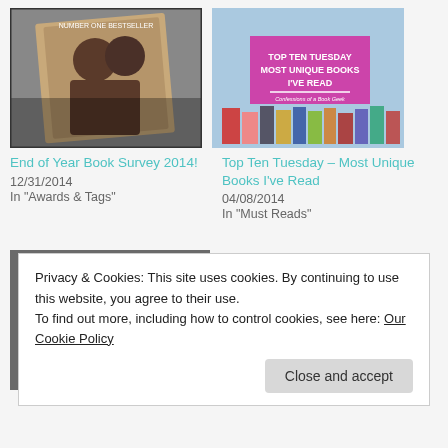[Figure (photo): Book thumbnail - romance couple cover for End of Year Book Survey 2014]
End of Year Book Survey 2014!
12/31/2014
In "Awards & Tags"
[Figure (photo): Book thumbnail - Top Ten Tuesday Most Unique Books I've Read - pink banner with stacked books]
Top Ten Tuesday – Most Unique Books I've Read
04/08/2014
In "Must Reads"
[Figure (photo): Blog post thumbnail - Crazy & Best Search Terms - blue magnifying glass over keyboard]
Privacy & Cookies: This site uses cookies. By continuing to use this website, you agree to their use.
To find out more, including how to control cookies, see here: Our Cookie Policy
Close and accept